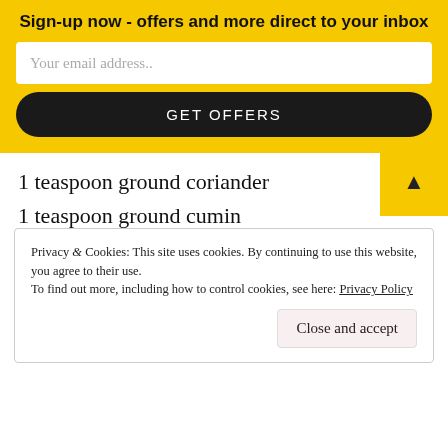Sign-up now - offers and more direct to your inbox
Your email address..
GET OFFERS
1 teaspoon ground coriander
1 teaspoon ground cumin
1 teaspoon paprika
Water
Privacy & Cookies: This site uses cookies. By continuing to use this website, you agree to their use.
To find out more, including how to control cookies, see here: Privacy Policy
Close and accept